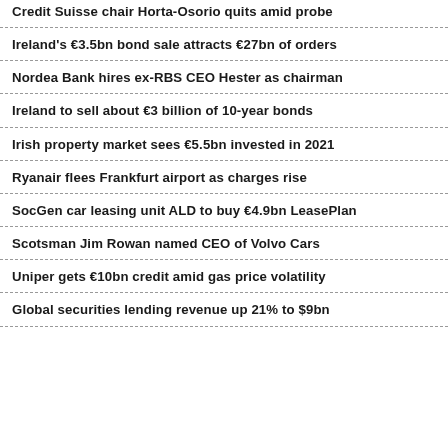Credit Suisse chair Horta-Osorio quits amid probe
Ireland's €3.5bn bond sale attracts €27bn of orders
Nordea Bank hires ex-RBS CEO Hester as chairman
Ireland to sell about €3 billion of 10-year bonds
Irish property market sees €5.5bn invested in 2021
Ryanair flees Frankfurt airport as charges rise
SocGen car leasing unit ALD to buy €4.9bn LeasePlan
Scotsman Jim Rowan named CEO of Volvo Cars
Uniper gets €10bn credit amid gas price volatility
Global securities lending revenue up 21% to $9bn